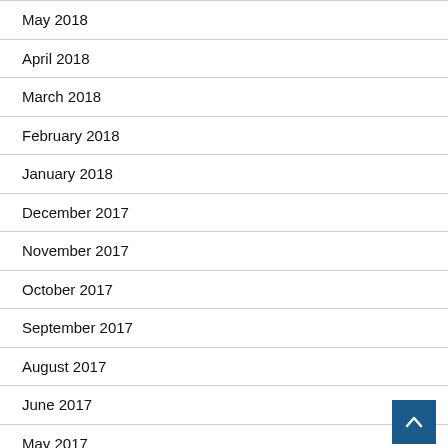May 2018
April 2018
March 2018
February 2018
January 2018
December 2017
November 2017
October 2017
September 2017
August 2017
June 2017
May 2017
April 2017